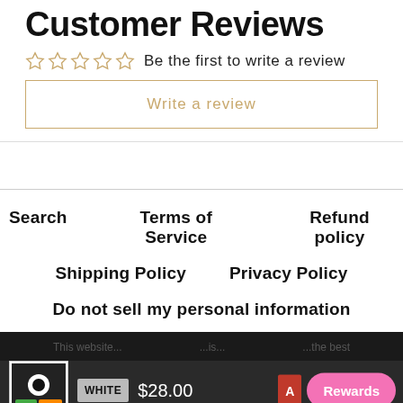Customer Reviews
Be the first to write a review
Write a review
Search
Terms of Service
Refund policy
Shipping Policy
Privacy Policy
Do not sell my personal information
WHITE  $28.00  Rewards